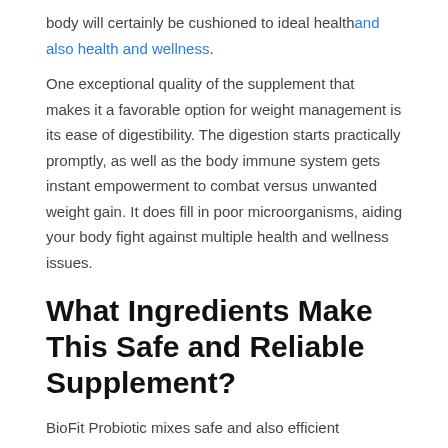body will certainly be cushioned to ideal health and also health and wellness.
One exceptional quality of the supplement that makes it a favorable option for weight management is its ease of digestibility. The digestion starts practically promptly, as well as the body immune system gets instant empowerment to combat versus unwanted weight gain. It does fill in poor microorganisms, aiding your body fight against multiple health and wellness issues.
What Ingredients Make This Safe and Reliable Supplement?
BioFit Probiotic mixes safe and also efficient proprietary components that have the power to reduce weight gain, promote wellness, and also preserve appropriate wellness levels. These active ingredients include: